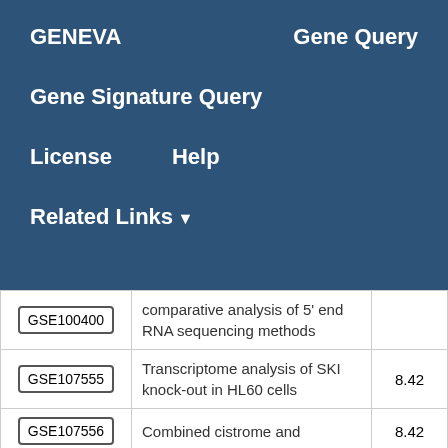GENEVA    Gene Query
Gene Signature Query
License    Help
Related Links ▼
| GSE ID | Description | Score |
| --- | --- | --- |
| GSE100400 | comparative analysis of 5' end RNA sequencing methods |  |
| GSE107555 | Transcriptome analysis of SKI knock-out in HL60 cells | 8.42 |
| GSE107556 | Combined cistrome and | 8.42 |